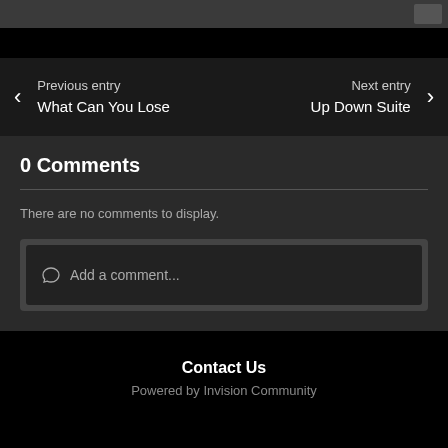[Figure (screenshot): Top gray navigation bar strip with a small button on the right]
Previous entry
What Can You Lose
Next entry
Up Down Suite
0 Comments
There are no comments to display.
Add a comment...
Contact Us
Powered by Invision Community